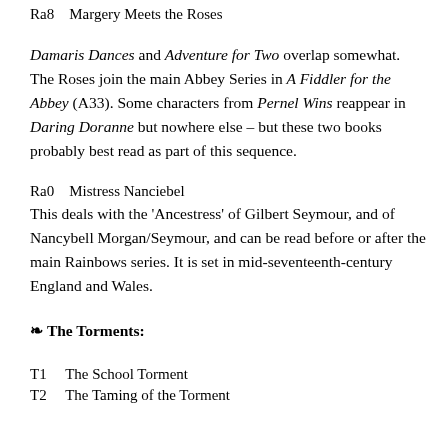Ra8    Margery Meets the Roses
Damaris Dances and Adventure for Two overlap somewhat. The Roses join the main Abbey Series in A Fiddler for the Abbey (A33). Some characters from Pernel Wins reappear in Daring Doranne but nowhere else – but these two books probably best read as part of this sequence.
Ra0    Mistress Nanciebel
This deals with the 'Ancestress' of Gilbert Seymour, and of Nancybell Morgan/Seymour, and can be read before or after the main Rainbows series. It is set in mid-seventeenth-century England and Wales.
❧ The Torments:
T1      The School Torment
T2      The Taming of the Torment